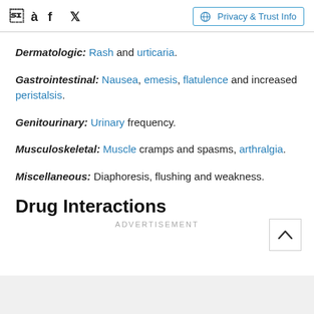Facebook Twitter | Privacy & Trust Info
Dermatologic: Rash and urticaria.
Gastrointestinal: Nausea, emesis, flatulence and increased peristalsis.
Genitourinary: Urinary frequency.
Musculoskeletal: Muscle cramps and spasms, arthralgia.
Miscellaneous: Diaphoresis, flushing and weakness.
Drug Interactions
ADVERTISEMENT